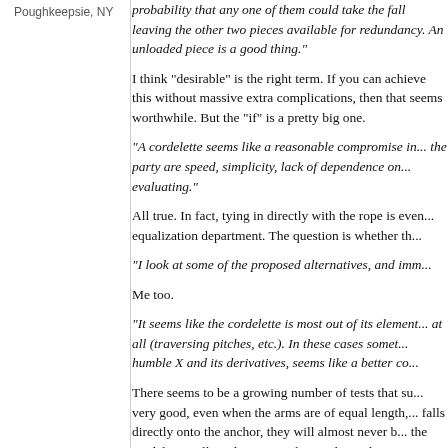Poughkeepsie, NY
probability that any one of them could take the fall leaving the other two pieces available for redundancy. An unloaded piece is a good thing."
I think "desirable" is the right term. If you can achieve this without massive extra complications, then that seems worthwhile. But the "if" is a pretty big one.
"A cordelette seems like a reasonable compromise if the goals of the party are speed, simplicity, lack of dependence on... evaluating."
All true. In fact, tying in directly with the rope is even better in the equalization department. The question is whether th...
"I look at some of the proposed alternatives, and imm...
Me too.
"It seems like the cordelette is most out of its element when there's no need for equalization at all (traversing pitches, etc.). In these cases something simpler, like the humble X and its derivatives, seems like a better co...
There seems to be a growing number of tests that suggest cordelettes don't equalize very good, even when the arms are of equal length, and when the load falls directly onto the anchor, they will almost never be loaded. So the cordelette will in, this sense, almost always be o...
"I suspect a great danger is that people get so obse...